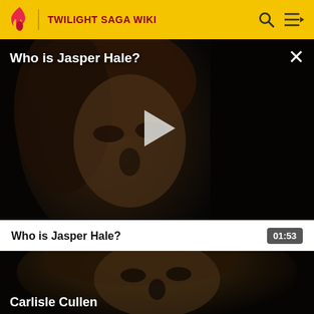TWILIGHT SAGA WIKI
Who is Jasper Hale?
[Figure (screenshot): Video player showing a dark close-up of a person's face (Jasper Hale character from Twilight). A large play button triangle is centered on the video. The title 'Who is Jasper Hale?' appears in white text at top left, and a white X close button appears at top right.]
Who is Jasper Hale?
01:53
[Figure (screenshot): Dark thumbnail image showing a close-up face of a character (Carlisle Cullen) with text 'Carlisle Cullen' overlaid at the bottom in white bold font.]
Carlisle Cullen